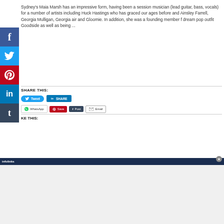Sydney's Maia Marsh has an impressive form, having been a session musician (lead guitar, bass, vocals) for a number of artists including Huck Hastings who has graced our ages before and Ainsley Farrell, Georgia Mulligan, Georgia air and Gloomie. In addition, she was a founding member f dream pop outfit Goodside as well as being ...
SHARE THIS:
[Figure (screenshot): Social sharing buttons row: Tweet (Twitter), SHARE (LinkedIn), WhatsApp, Save (Pinterest), Post (Tumblr), Email]
KE THIS:
[Figure (screenshot): Infolinks advertisement bar with close button and ad area below]